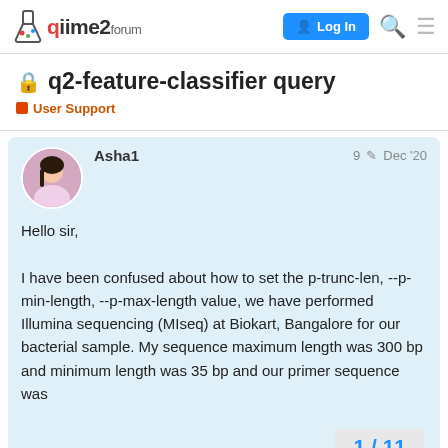qiime2 forum | Log In
q2-feature-classifier query
User Support
Asha1   9   Dec '20
Hello sir,

I have been confused about how to set the p-trunc-len, --p-min-length, --p-max-length value, we have performed Illumina sequencing (MIseq) at Biokart, Bangalore for our bacterial sample. My sequence maximum length was 300 bp and minimum length was 35 bp and our primer sequence was
1 / 11